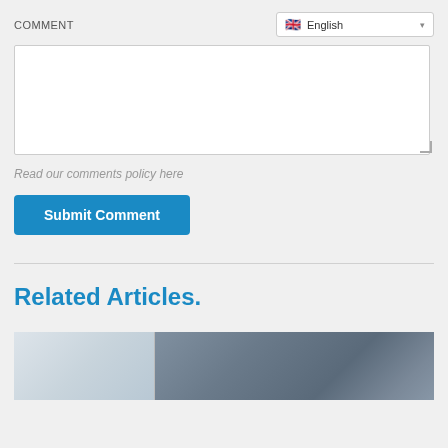COMMENT
English (language selector dropdown)
Read our comments policy here
Submit Comment
Related Articles.
[Figure (photo): Article thumbnail image showing an indoor space, partially visible at the bottom of the page]